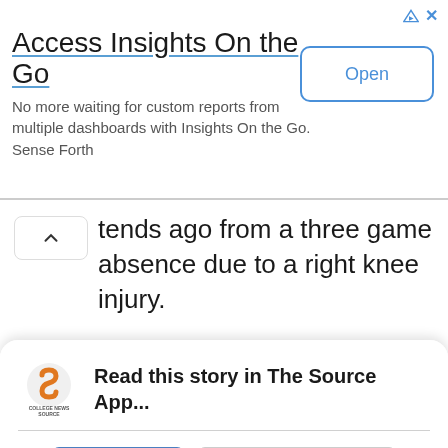[Figure (screenshot): Advertisement banner for 'Insights On the Go' app with Open button and close/info icons]
Access Insights On the Go
No more waiting for custom reports from multiple dashboards with Insights On the Go. Sense Forth
tends ago from a three game absence due to a right knee injury.
[Figure (logo): College News Source logo - stylized 'S' in orange/black circle with text COLLEGE NEWS SOURCE below]
Read this story in The Source App...